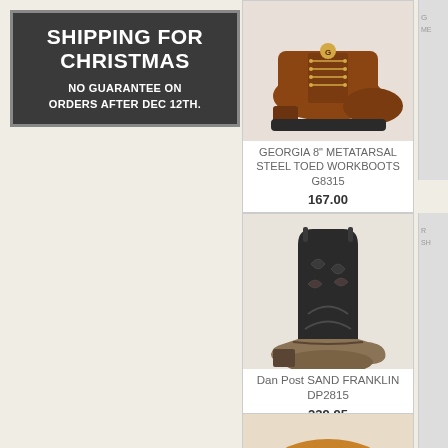SHIPPING FOR CHRISTMAS
NO GUARANTEE ON ORDERS AFTER DEC 12TH.
[Figure (photo): Brown leather lace-up work boot with lug sole - Georgia 8 inch Metatarsal Steel Toed Workboot G8315]
GEORGIA 8" METATARSAL STEEL TOED WORKBOOTS G8315
167.00
[Figure (photo): Western cowboy boot with dark brown/black upper and tan lower - Dan Post SAND FRANKLIN DP2815]
Dan Post SAND FRANKLIN DP2815
239.95
[Figure (photo): Partial view of a boot at the bottom of the page]
[Figure (photo): Partial view of another product on the right edge]